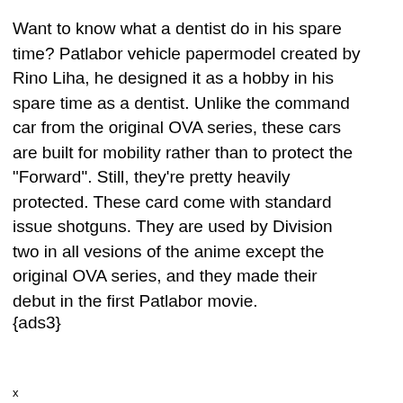Want to know what a dentist do in his spare time? Patlabor vehicle papermodel created by Rino Liha, he designed it as a hobby in his spare time as a dentist. Unlike the command car from the original OVA series, these cars are built for mobility rather than to protect the "Forward". Still, they're pretty heavily protected. These card come with standard issue shotguns. They are used by Division two in all vesions of the anime except the original OVA series, and they made their debut in the first Patlabor movie.
{ads3}
x